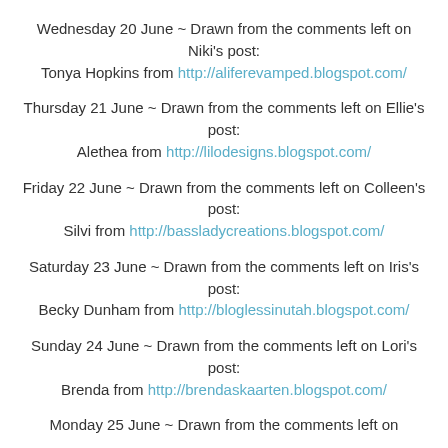Wednesday 20 June ~ Drawn from the comments left on Niki's post:
Tonya Hopkins from http://aliferevamped.blogspot.com/
Thursday 21 June ~ Drawn from the comments left on Ellie's post:
Alethea from http://lilodesigns.blogspot.com/
Friday 22 June ~ Drawn from the comments left on Colleen's post:
Silvi from http://bassladycreations.blogspot.com/
Saturday 23 June ~ Drawn from the comments left on Iris's post:
Becky Dunham from http://bloglessinutah.blogspot.com/
Sunday 24 June ~ Drawn from the comments left on Lori's post:
Brenda from http://brendaskaarten.blogspot.com/
Monday 25 June ~ Drawn from the comments left on